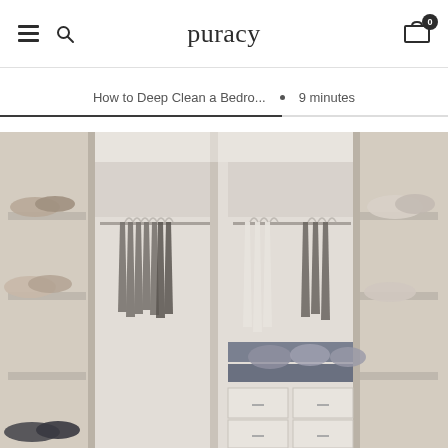puracy — navigation header with hamburger menu, search icon, logo, and cart (0 items)
How to Deep Clean a Bedro... • 9 minutes
[Figure (photo): Interior of a well-organized walk-in closet with multiple sections: hanging clothes on rods (dark and light garments), shelves with shoes and accessories, folded jeans and hats on lower shelves, and white drawers at the bottom.]